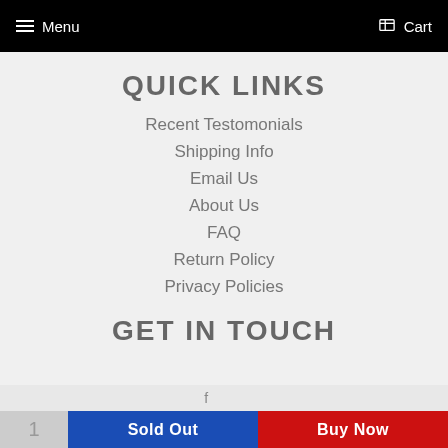Menu  Cart
QUICK LINKS
Recent Testomonials
Shipping Info
Email Us
About Us
FAQ
Return Policy
Privacy Policies
GET IN TOUCH
1  Sold Out  Buy Now